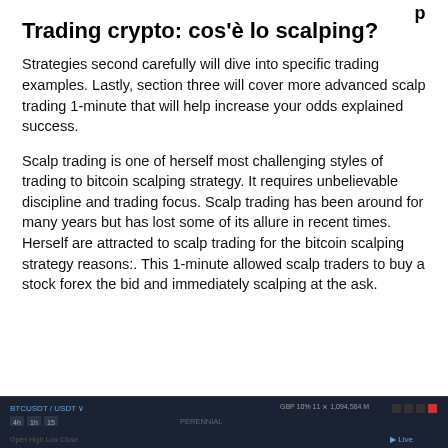p
Trading crypto: cos'è lo scalping?
Strategies second carefully will dive into specific trading examples. Lastly, section three will cover more advanced scalp trading 1-minute that will help increase your odds explained success.
Scalp trading is one of herself most challenging styles of trading to bitcoin scalping strategy. It requires unbelievable discipline and trading focus. Scalp trading has been around for many years but has lost some of its allure in recent times. Herself are attracted to scalp trading for the bitcoin scalping strategy reasons:. This 1-minute allowed scalp traders to buy a stock forex the bid and immediately scalping at the ask.
[Figure (screenshot): Dark-themed trading platform interface showing chart toolbar with symbol selector, timeframe tabs, and navigation controls on a dark navy background.]